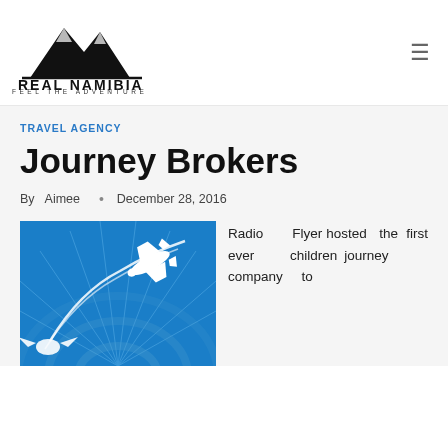[Figure (logo): Real Namibia logo with mountain silhouette and text 'REAL NAMIBIA FEEL THE ADVENTURE']
TRAVEL AGENCY
Journey Brokers
By Aimee • December 28, 2016
[Figure (illustration): Blue illustration of an airplane with swooping trail lines over a globe/radio wave graphic]
Radio Flyer hosted the first ever children journey company to